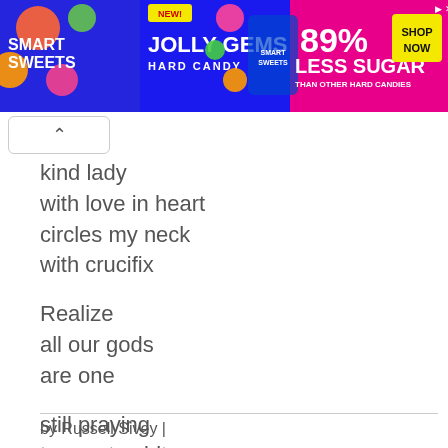[Figure (illustration): Smart Sweets Jolly Gems Hard Candy advertisement banner. Blue background with text: NEW! JOLLY GEMS HARD CANDY, SMART SWEETS logo, 89% LESS SUGAR THAN OTHER HARD CANDIES, SHOP NOW button in yellow box. Candy imagery on left and center.]
kind lady
with love in heart
circles my neck
with crucifix
Realize
all our gods
are one
still praying
to great spirit
the one with
wild deer playing
in her heart
by Russell Sivey |